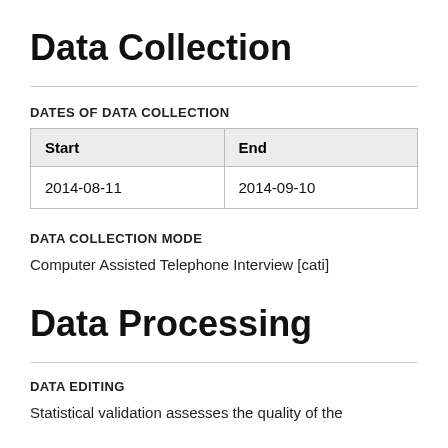Data Collection
DATES OF DATA COLLECTION
| Start | End |
| --- | --- |
| 2014-08-11 | 2014-09-10 |
DATA COLLECTION MODE
Computer Assisted Telephone Interview [cati]
Data Processing
DATA EDITING
Statistical validation assesses the quality of the